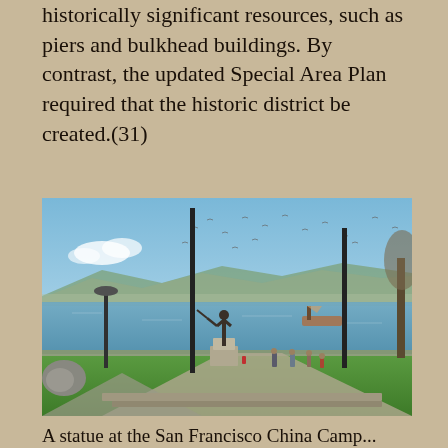historically significant resources, such as piers and bulkhead buildings. By contrast, the updated Special Area Plan required that the historic district be created.(31)
[Figure (photo): Outdoor waterfront scene showing a bronze baseball player statue on a pedestal, with a bay and hills in the background, seagulls in the sky, green lawn, walkways, lamp posts, and several people in the park.]
A statue at the San Francisco China Camp...